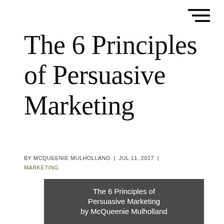The 6 Principles of Persuasive Marketing
BY MCQUEENIE MULHOLLAND | JUL 11, 2017 | MARKETING
[Figure (other): Dark grey box with text 'The 6 Principles of Persuasive Marketing by McQueenie Mulholland' displayed as a slide or card preview]